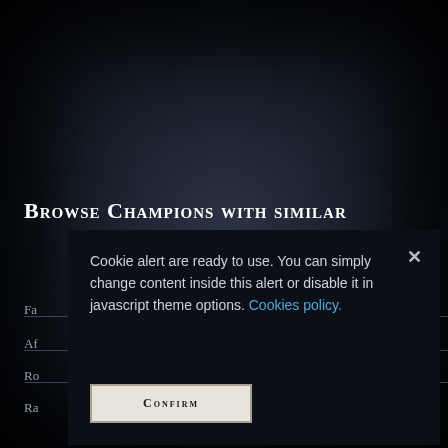[Figure (screenshot): Dark-themed game website background with 'Browse Champions with similar' heading and sidebar filter labels (Fa, Af, Ro, Ra) with horizontal dividers, and navigation bracket elements at bottom.]
Browse Champions with similar
Cookie alert are ready to use. You can simply change content inside this alert or disable it in javascript theme options. Cookies policy.
Confirm